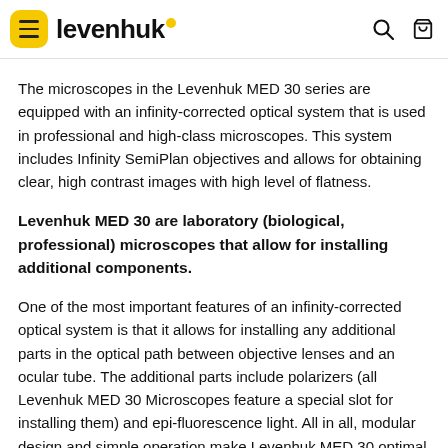levenhuk
The microscopes in the Levenhuk MED 30 series are equipped with an infinity-corrected optical system that is used in professional and high-class microscopes. This system includes Infinity SemiPlan objectives and allows for obtaining clear, high contrast images with high level of flatness.
Levenhuk MED 30 are laboratory (biological, professional) microscopes that allow for installing additional components.
One of the most important features of an infinity-corrected optical system is that it allows for installing any additional parts in the optical path between objective lenses and an ocular tube. The additional parts include polarizers (all Levenhuk MED 30 Microscopes feature a special slot for installing them) and epi-fluorescence light. All in all, modular design and simple operation make Levenhuk MED 30 optimal microscopes for using in different kinds of microscopy and working in hematological,